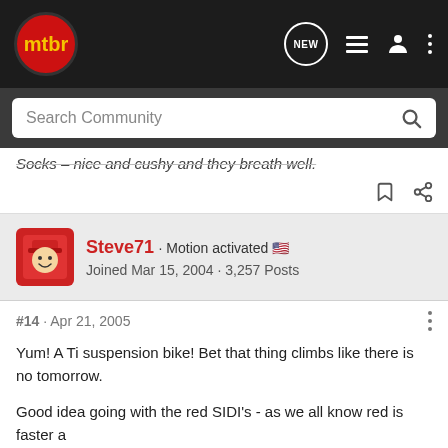mtbr - navigation bar with search
Socks - nice and cushy and they breath well.
Steve71 · Motion activated · Joined Mar 15, 2004 · 3,257 Posts
#14 · Apr 21, 2005
Yum! A Ti suspension bike! Bet that thing climbs like there is no tomorrow.
Good idea going with the red SIDI's - as we all know red is faster a...
[Figure (other): Cabela's Reloading Supplies advertisement banner with SHOP NOW button]